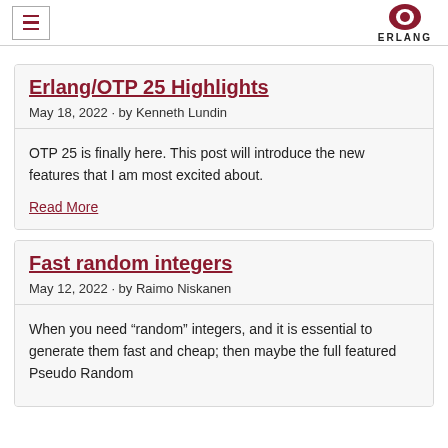ERLANG
Erlang/OTP 25 Highlights
May 18, 2022 · by Kenneth Lundin
OTP 25 is finally here. This post will introduce the new features that I am most excited about.
Read More
Fast random integers
May 12, 2022 · by Raimo Niskanen
When you need “random” integers, and it is essential to generate them fast and cheap; then maybe the full featured Pseudo Random